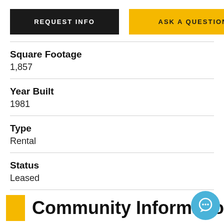[Figure (other): Two buttons: REQUEST INFO (dark background) and ASK A QUESTION (yellow background)]
Square Footage
1,857
Year Built
1981
Type
Rental
Status
Leased
Community Information